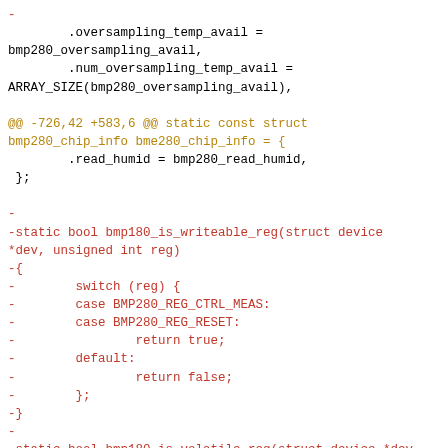Code diff showing removal of bmp280_is_writeable_reg and bmp280_is_volatile_reg functions along with context of oversampling_temp_avail and bme280_chip_info struct changes.